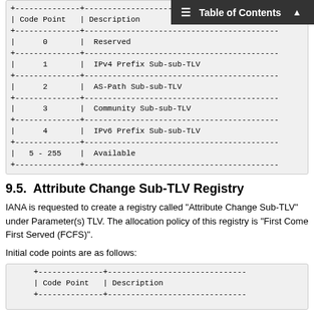| Code Point | Description |
| --- | --- |
| 0 | Reserved |
| 1 | IPv4 Prefix Sub-sub-TLV |
| 2 | AS-Path Sub-sub-TLV |
| 3 | Community Sub-sub-TLV |
| 4 | IPv6 Prefix Sub-sub-TLV |
| 5 - 255 | Available |
9.5. Attribute Change Sub-TLV Registry
IANA is requested to create a registry called "Attribute Change Sub-TLV" under Parameter(s) TLV. The allocation policy of this registry is "First Come First Served (FCFS)".
Initial code points are as follows:
| Code Point | Description |
| --- | --- |